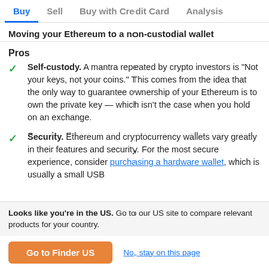Buy | Sell | Buy with Credit Card | Analysis
Moving your Ethereum to a non-custodial wallet
Pros
Self-custody. A mantra repeated by crypto investors is "Not your keys, not your coins." This comes from the idea that the only way to guarantee ownership of your Ethereum is to own the private key — which isn't the case when you hold on an exchange.
Security. Ethereum and cryptocurrency wallets vary greatly in their features and security. For the most secure experience, consider purchasing a hardware wallet, which is usually a small USB
Looks like you're in the US. Go to our US site to compare relevant products for your country.
Go to Finder US | No, stay on this page